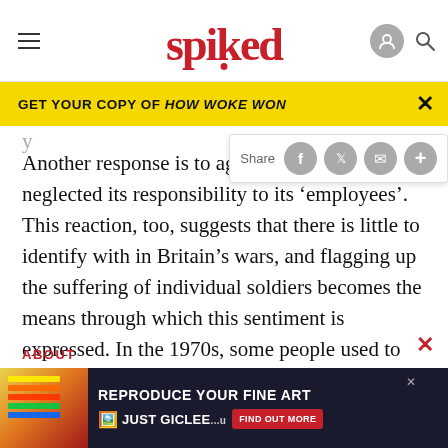spiked
[Figure (screenshot): Yellow banner ad: GET YOUR COPY OF HOW WOKE WON with close button]
[Figure (screenshot): Share bar with social media icons: Facebook, Twitter, email, plus]
Another response is to agree that the MoD has neglected its responsibility to its ‘employees’. This reaction, too, suggests that there is little to identify with in Britain’s wars, and flagging up the suffering of individual soldiers becomes the means through which this sentiment is expressed. In the 1970s, some people used to wear badges saying ‘War is bad for children, flowers, and other living things’. It seems that this list has be… ns to
[Figure (screenshot): Advertisement overlay: REPRODUCE YOUR FINE ART - JUST GICLEE with colorful image on left and FIND OUT MORE button]